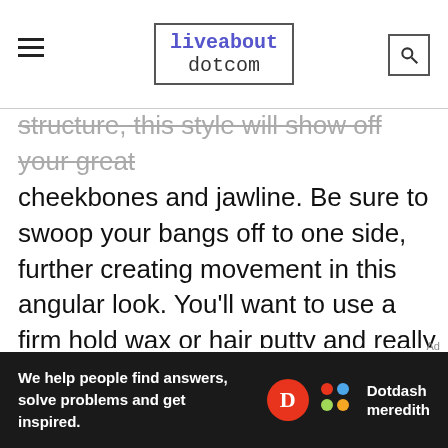liveabout dotcom
structure, this style will show off your great cheekbones and jawline. Be sure to swoop your bangs off to one side, further creating movement in this angular look. You'll want to use a firm hold wax or hair putty and really emphasize the edgy layers by using your fingers to apply to hair product. Pull the bangs forward and off to the side with the product on your fingertips. With just a bit more product, define the top layers by running your fingers through the top and crown of your hair to create a slightly messier appearance on top. The end result is an edgy and
Ad
We help people find answers, solve problems and get inspired. Dotdash meredith